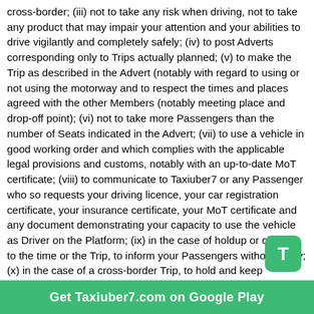cross-border; (iii) not to take any risk when driving, not to take any product that may impair your attention and your abilities to drive vigilantly and completely safely; (iv) to post Adverts corresponding only to Trips actually planned; (v) to make the Trip as described in the Advert (notably with regard to using or not using the motorway and to respect the times and places agreed with the other Members (notably meeting place and drop-off point); (vi) not to take more Passengers than the number of Seats indicated in the Advert; (vii) to use a vehicle in good working order and which complies with the applicable legal provisions and customs, notably with an up-to-date MoT certificate; (viii) to communicate to Taxiuber7 or any Passenger who so requests your driving licence, your car registration certificate, your insurance certificate, your MoT certificate and any document demonstrating your capacity to use the vehicle as Driver on the Platform; (ix) in the case of holdup or change to the time or the Trip, to inform your Passengers without delay; (x) in the case of a cross-border Trip, to hold and keep available to the Passenger and any authority that may so request any document evidencing your identity and your right to cross the border; (xi) to wait for Passengers at the agreed meeting place for at least 15 min after the agreed time; (xii) not to post an Advert relative to a vehicle you do not own or that you are not authorised to use for the purposes of carpooling; (xiii) to ensure you can be contacted by your Passengers at all times, at least on the day of the Trip, at the phone number registered on your profile; (xiv) not to generate any profit via the Platform; (xv) not to have any
[Figure (other): Green 'T' app icon overlay in bottom right area]
Get Taxiuber7.com on Google Play